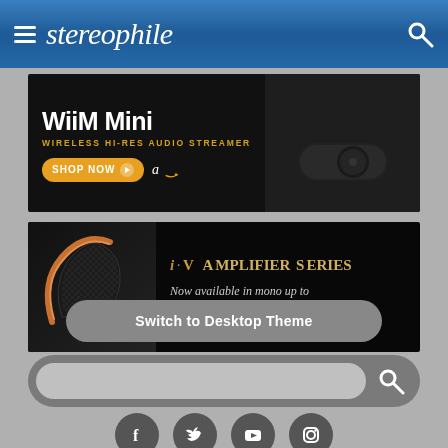stereophile
[Figure (advertisement): WiiM Mini wireless hi-res audio streamer ad with Shop Now button and Amazon logo]
[Figure (advertisement): i·V Amplifier Series ad - Now available in mono up to 8 channel configurations]
[Figure (screenshot): Switch to Desktop Theme button]
[Figure (screenshot): Search bar with search icon button]
[Figure (screenshot): Social media icons row: Facebook, Twitter, YouTube, Instagram]